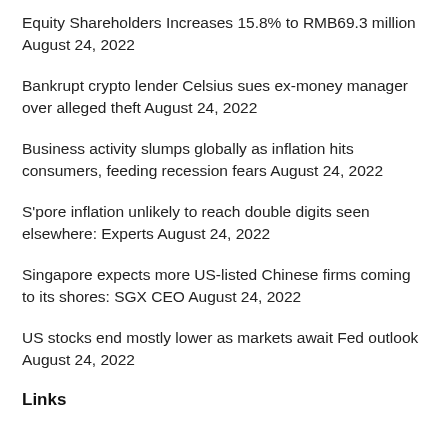Equity Shareholders Increases 15.8% to RMB69.3 million August 24, 2022
Bankrupt crypto lender Celsius sues ex-money manager over alleged theft August 24, 2022
Business activity slumps globally as inflation hits consumers, feeding recession fears August 24, 2022
S'pore inflation unlikely to reach double digits seen elsewhere: Experts August 24, 2022
Singapore expects more US-listed Chinese firms coming to its shores: SGX CEO August 24, 2022
US stocks end mostly lower as markets await Fed outlook August 24, 2022
Links